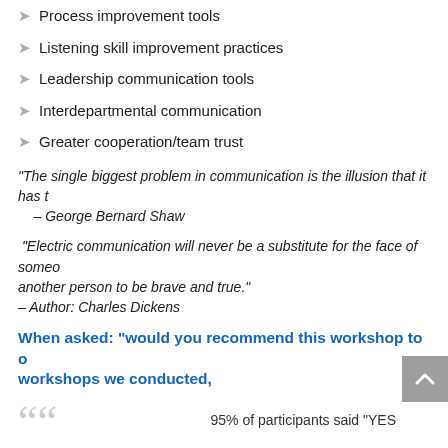Process improvement tools
Listening skill improvement practices
Leadership communication tools
Interdepartmental communication
Greater cooperation/team trust
“The single biggest problem in communication is the illusion that it has t… – George Bernard Shaw
“Electric communication will never be a substitute for the face of someo… another person to be brave and true.” – Author: Charles Dickens
When asked: “would you recommend this workshop to o… workshops we conducted,
95% of participants said “YES
When asked to who or why? Some of the many partic…